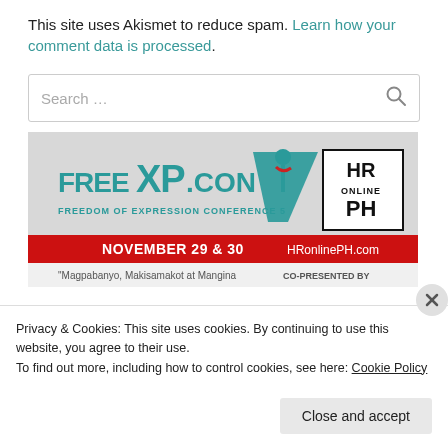This site uses Akismet to reduce spam. Learn how your comment data is processed.
Search ...
[Figure (photo): FreeXP.Con banner - Freedom of Expression Conference 5, November 29 & 30, HRonlinePH.com, co-presented by HR Online PH]
Privacy & Cookies: This site uses cookies. By continuing to use this website, you agree to their use.
To find out more, including how to control cookies, see here: Cookie Policy